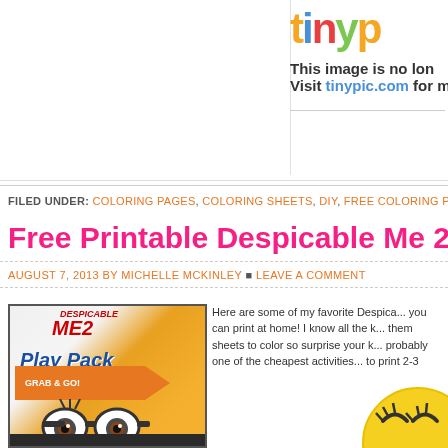[Figure (screenshot): TinyPic logo and 'This image is no longer available. Visit tinypic.com for m...' message in top right]
FILED UNDER: COLORING PAGES, COLORING SHEETS, DIY, FREE COLORING PA...
Free Printable Despicable Me 2 Coloring Pag...
AUGUST 7, 2013 BY MICHELLE MCKINLEY • LEAVE A COMMENT
[Figure (photo): Despicable Me 2 Play Pack Grab & Go product image with minion]
Here are some of my favorite Despica... you can print at home! I know all the k... them sheets to color so surprise your k... probably one of the cheapest activities... to print 2-3